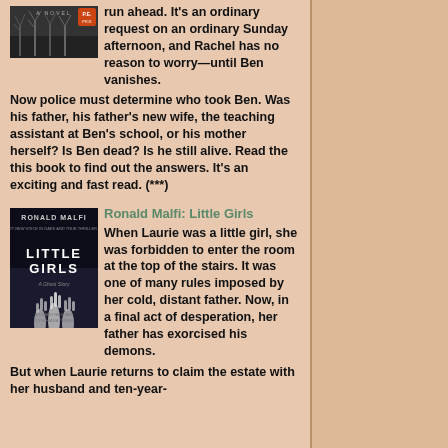[Figure (photo): Book cover image for a novel showing bare winter trees in black and white with a P.E. badge]
run ahead. It's an ordinary request on an ordinary Sunday afternoon, and Rachel has no reason to worry—until Ben vanishes. Now police must determine who took Ben. Was his father, his father's new wife, the teaching assistant at Ben's school, or his mother herself? Is Ben dead? Is he still alive. Read the this book to find out the answers. It's an exciting and fast read. (***)
[Figure (photo): Book cover for 'Little Girls' by Ronald Malfi showing a dark cover with child's hands reaching up]
Ronald Malfi: Little Girls
When Laurie was a little girl, she was forbidden to enter the room at the top of the stairs. It was one of many rules imposed by her cold, distant father. Now, in a final act of desperation, her father has exorcised his demons. But when Laurie returns to claim the estate with her husband and ten-year-